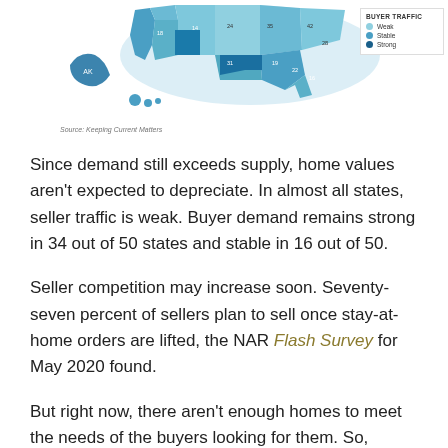[Figure (map): Choropleth map of the United States showing buyer/seller traffic by state, with a legend indicating three traffic levels (Weak, Stable, Strong) in shades of blue. Alaska and Hawaii shown as insets.]
Source: Keeping Current Matters
Since demand still exceeds supply, home values aren't expected to depreciate. In almost all states, seller traffic is weak. Buyer demand remains strong in 34 out of 50 states and stable in 16 out of 50.
Seller competition may increase soon. Seventy-seven percent of sellers plan to sell once stay-at-home orders are lifted, the NAR Flash Survey for May 2020 found.
But right now, there aren't enough homes to meet the needs of the buyers looking for them. So, sellers who list in this unique window have